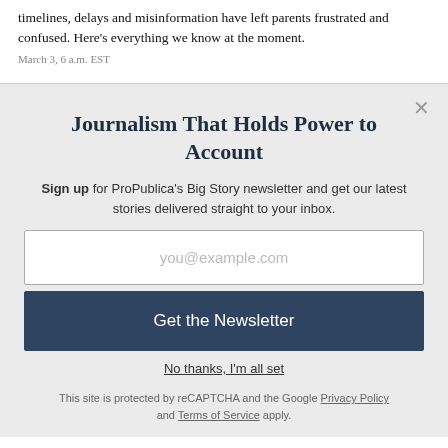timelines, delays and misinformation have left parents frustrated and confused. Here's everything we know at the moment.
March 3, 6 a.m. EST
Journalism That Holds Power to Account
Sign up for ProPublica's Big Story newsletter and get our latest stories delivered straight to your inbox.
you@example.com
Get the Newsletter
No thanks, I'm all set
This site is protected by reCAPTCHA and the Google Privacy Policy and Terms of Service apply.